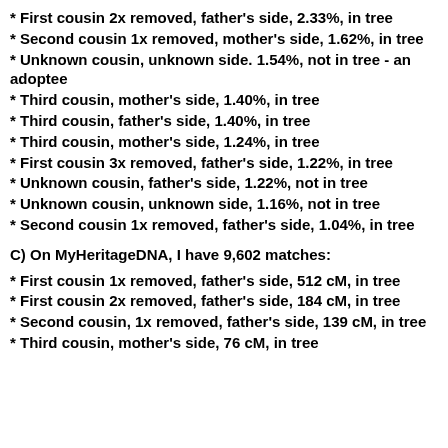* First cousin 2x removed, father's side, 2.33%, in tree
* Second cousin 1x removed, mother's side, 1.62%, in tree
* Unknown cousin, unknown side. 1.54%, not in tree - an adoptee
* Third cousin, mother's side, 1.40%, in tree
* Third cousin, father's side, 1.40%, in tree
* Third cousin, mother's side, 1.24%, in tree
* First cousin 3x removed, father's side, 1.22%, in tree
* Unknown cousin, father's side, 1.22%, not in tree
* Unknown cousin, unknown side, 1.16%, not in tree
* Second cousin 1x removed, father's side, 1.04%, in tree
C)  On MyHeritageDNA, I have 9,602 matches:
* First cousin 1x removed, father's side, 512 cM, in tree
* First cousin 2x removed, father's side, 184 cM, in tree
* Second cousin, 1x removed, father's side, 139 cM, in tree
* Third cousin, mother's side, 76 cM, in tree